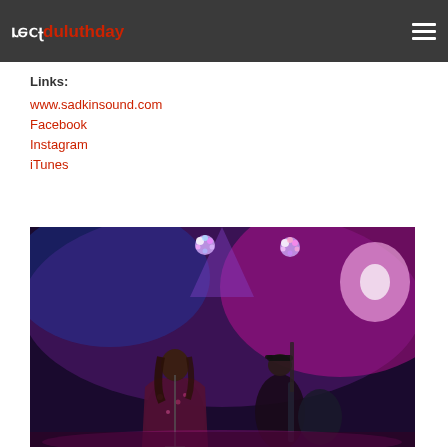perfect duluthday
Links:
www.sadkinsound.com
Facebook
Instagram
iTunes
[Figure (photo): Concert photo showing two musicians on stage with purple and pink stage lighting. One performer in a floral jacket stands at a microphone, another plays guitar. Bright stage lights visible in the background.]